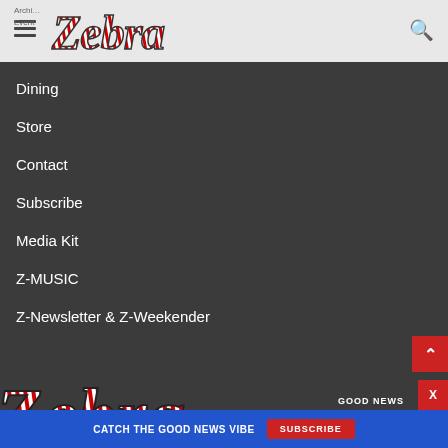Zebra — navigation menu open
Dining
Store
Contact
Subscribe
Media Kit
Z-MUSIC
Z-Newsletter & Z-Weekender
[Figure (logo): Zebra magazine logo — stylized text in black, white and red zebra-stripe pattern]
GOOD NEWS
CATCH THE GOOD NEWS VIBE   SUBSCRIBE